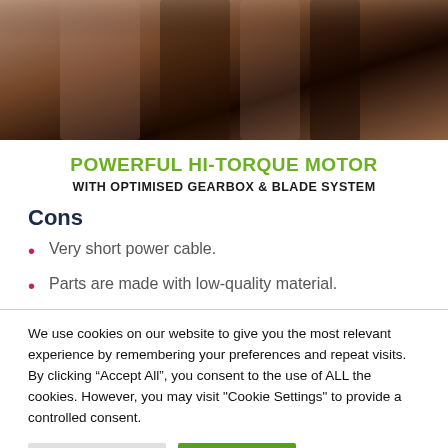[Figure (photo): Close-up photo of metal blades or gearbox components in dark and copper tones]
POWERFUL HI-TORQUE MOTOR WITH OPTIMISED GEARBOX & BLADE SYSTEM
Cons
Very short power cable.
Parts are made with low-quality material.
We use cookies on our website to give you the most relevant experience by remembering your preferences and repeat visits. By clicking “Accept All”, you consent to the use of ALL the cookies. However, you may visit "Cookie Settings" to provide a controlled consent.
Cookie Settings | Accept All